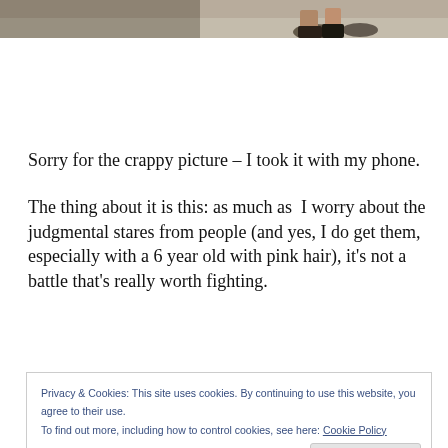[Figure (photo): Bottom strip of a photograph showing ground/pavement and lower portion of people's legs/feet]
Sorry for the crappy picture – I took it with my phone.
The thing about it is this: as much as  I worry about the judgmental stares from people (and yes, I do get them, especially with a 6 year old with pink hair), it's not a battle that's really worth fighting.
Privacy & Cookies: This site uses cookies. By continuing to use this website, you agree to their use.
To find out more, including how to control cookies, see here: Cookie Policy
Close and accept